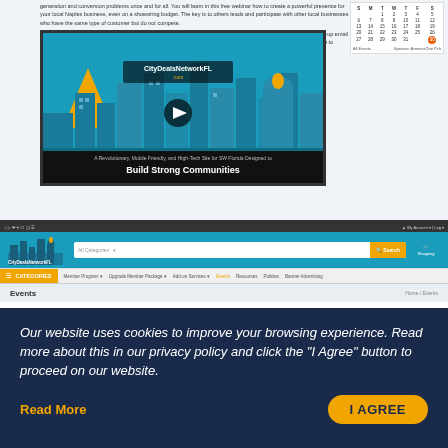generation and conversion problems once and for all. You will learn in this free webinar how to create a powerful presence for your local Naples business, even on a shoestring budget. The key is to others leads and participate with other local businesses who have the same type of customer but do not compete. You will be introduced to run more than one of stages through social media, email, SMS, Google Hangouts and follow-up email and SMS campaigns that will rapidly grow your brand, give you access to your best market of local leads and help you to acquire quality customers - all without having to do the work yourself!
[Figure (screenshot): Video thumbnail for CityDealsNetworkFL.com showing a mobile-friendly city-themed website with the tagline 'A Revolutionary, Mobile Friendly, and High-Tech Site for SW Florida Designed to Build Strong Communities']
[Figure (screenshot): Screenshot of CityDealsNetworkFL.com website showing header with logo, search bar, categories navigation, and Events page section]
Our website uses cookies to improve your browsing experience. Read more about this in our privacy policy and click the "I Agree" button to proceed on our website.
Read More
I AGREE